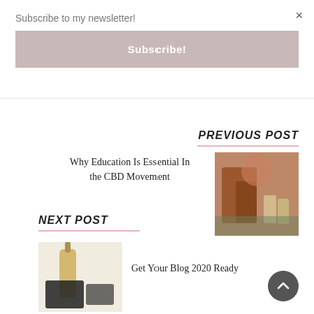×
Subscribe to my newsletter!
Subscribe!
PREVIOUS POST
Why Education Is Essential In the CBD Movement
[Figure (photo): Person in red/maroon jacket outdoors on rocks, holding CBD product bottles]
NEXT POST
[Figure (photo): Blog-related items, bottle and black items on light background]
Get Your Blog 2020 Ready